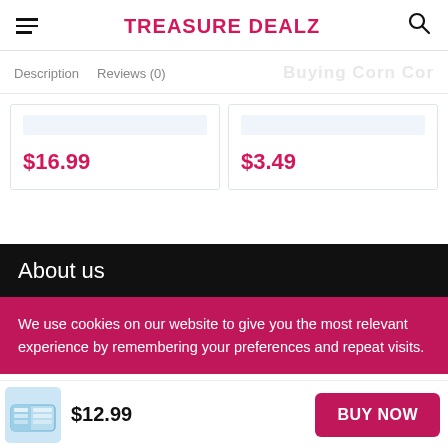TREASURE DEALZ
Description  Reviews (0)  Buying Corn Cor
$16.99
$3.49
About us
We use cookies on our website to give you the most relevant experience by remembering your preferences and repeat visits.
$12.99  BUY NOW